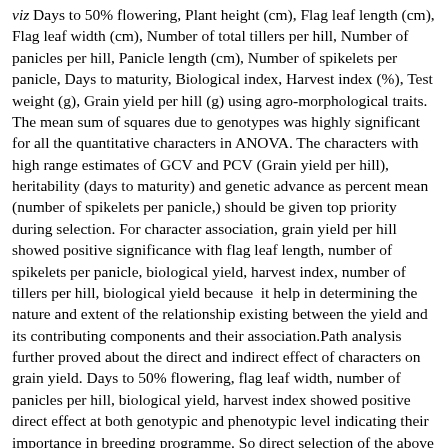<em>viz </em>Days to 50% flowering, Plant height (cm), Flag leaf length (cm), Flag leaf width (cm), Number of total tillers per hill, Number of panicles per hill, Panicle length (cm), Number of spikelets per panicle, Days to maturity, Biological index, Harvest index (%), Test weight (g), Grain yield per hill (g) using agro-morphological traits. The mean sum of squares due to genotypes was highly significant for all the quantitative characters in ANOVA. The characters with high range estimates of GCV and PCV (Grain yield per hill), heritability (days to maturity) and genetic advance as percent mean (number of spikelets per panicle,) should be given top priority during selection. For character association, grain yield per hill showed positive significance with flag leaf length, number of spikelets per panicle, biological yield, harvest index, number of tillers per hill, biological yield because&nbsp; it help in determining the nature and extent of the relationship existing between the yield and its contributing components and their association.Path analysis further proved about the direct and indirect effect of characters on grain yield. Days to 50% flowering, flag leaf width, number of panicles per hill, biological yield, harvest index showed positive direct effect at both genotypic and phenotypic level indicating their importance in breeding programme. So direct selection of the above characters will be rewarding.</p> Akhila Mathew, G. Roopa Lavanya, R. Kumar ##submission.copyrightStatement## https://journalijecc.com/index.php/IJECC/article/view/31103 Sat,